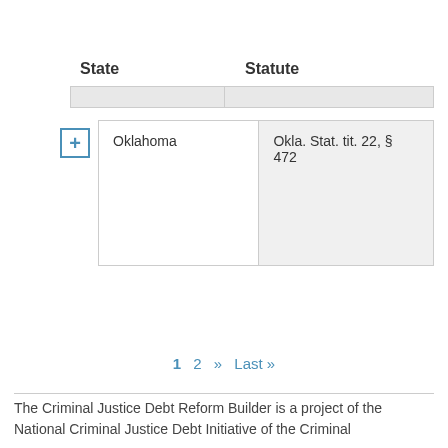| State | Statute |
| --- | --- |
| Oklahoma | Okla. Stat. tit. 22, § 472 |
1 2 » Last »
The Criminal Justice Debt Reform Builder is a project of the National Criminal Justice Debt Initiative of the Criminal